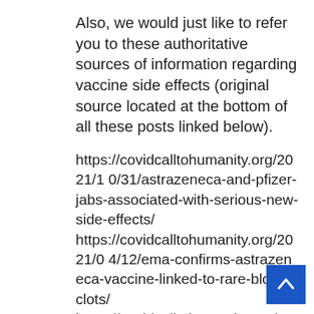Also, we would just like to refer you to these authoritative sources of information regarding vaccine side effects (original source located at the bottom of all these posts linked below).
https://covidcalltohumanity.org/2021/10/31/astrazeneca-and-pfizer-jabs-associated-with-serious-new-side-effects/ https://covidcalltohumanity.org/2021/04/12/ema-confirms-astrazeneca-vaccine-linked-to-rare-blood-clots/ https://covidcalltohumanity.org/2021/07/14/ema-finds-vaccine-link-to-heart-inflammation/ https://covidcalltohumanity.org/2021/1 1/11/...